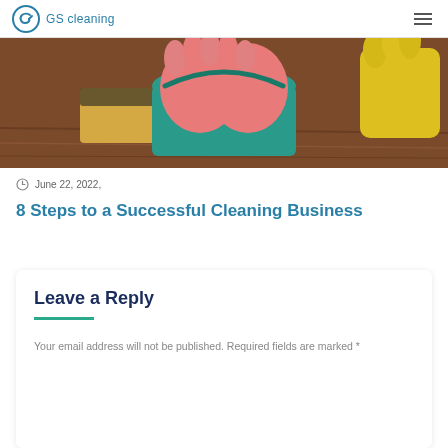GS cleaning
[Figure (photo): Close-up photo of cleaning supplies on a wooden table: sponges, pink rubber gloves, teal bucket, yellow gloves]
June 22, 2022,
8 Steps to a Successful Cleaning Business
Leave a Reply
Your email address will not be published. Required fields are marked *